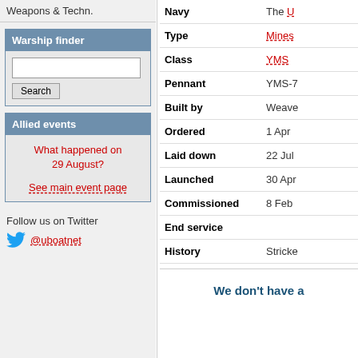Weapons & Techn.
Warship finder
Allied events
What happened on 29 August?
See main event page
Follow us on Twitter
@uboatnet
| Field | Value |
| --- | --- |
| Navy | The U[...] |
| Type | Mines[...] |
| Class | YMS |
| Pennant | YMS-7[...] |
| Built by | Weave[...] |
| Ordered | 1 Apr [...] |
| Laid down | 22 Jul[...] |
| Launched | 30 Apr[...] |
| Commissioned | 8 Feb[...] |
| End service |  |
| History | Strick[...] |
We don't have a